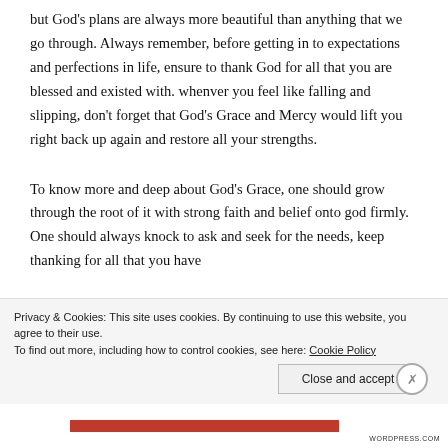but God's plans are always more beautiful than anything that we go through. Always remember, before getting in to expectations and perfections in life, ensure to thank God for all that you are blessed and existed with. whenver you feel like falling and slipping, don't forget that God's Grace and Mercy would lift you right back up again and restore all your strengths.
To know more and deep about God's Grace, one should grow through the root of it with strong faith and belief onto god firmly. One should always knock to ask and seek for the needs, keep thanking for all that you have
Privacy & Cookies: This site uses cookies. By continuing to use this website, you agree to their use.
To find out more, including how to control cookies, see here: Cookie Policy